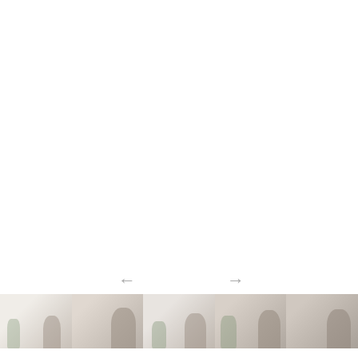[Figure (photo): Navigation UI with left and right arrow buttons for a photo gallery carousel, above a row of five thumbnail images showing a person in a bright indoor setting with plants.]